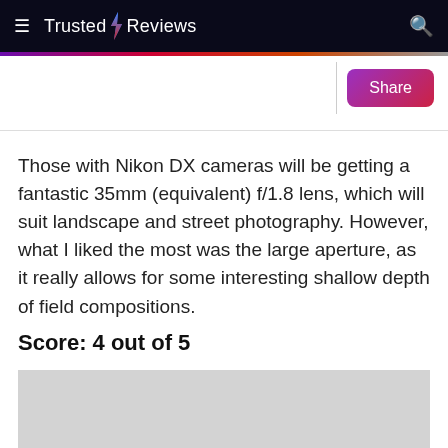Trusted Reviews
Those with Nikon DX cameras will be getting a fantastic 35mm (equivalent) f/1.8 lens, which will suit landscape and street photography. However, what I liked the most was the large aperture, as it really allows for some interesting shallow depth of field compositions.
Score: 4 out of 5
[Figure (photo): Gray placeholder image area at the bottom of the page]